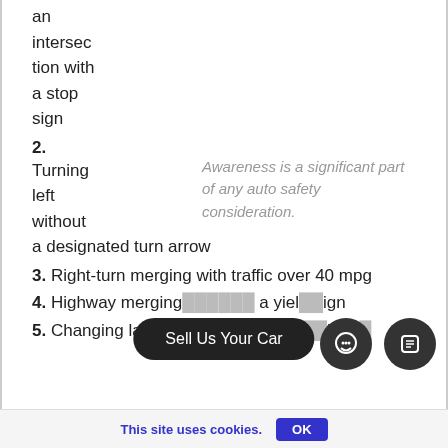an intersection with a stop sign
2. Turning left without a designated turn arrow
Awareness is a significant part of any auto safety consideration.
3. Right-turn merging with traffic over 40 mpg
4. Highway merging [obscured] a yield sign
5. Changing lanes [obscured] or m[obscured]lane[s]
This site uses cookies. OK